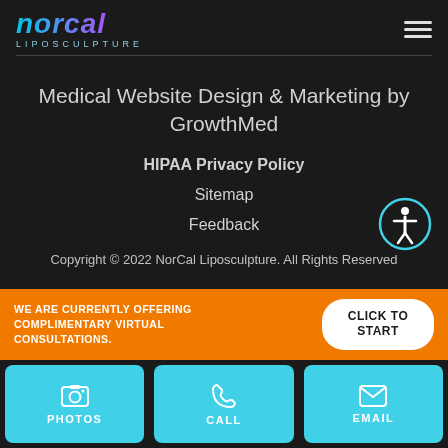[Figure (logo): NorCal Liposculpture logo with teal-to-purple gradient text and 'LIPOSCULPTURE' subtitle]
Medical Website Design & Marketing by GrowthMed
HIPAA Privacy Policy
Sitemap
Feedback
Copyright © 2022 NorCal Liposculpture. All Rights Reserved
WE ARE CURRENTLY OFFERING COMPLIMENTARY VIRTUAL CONSULTATIONS.
CLICK TO START
PHOTOS
CALL
EMAIL